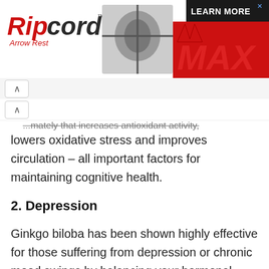[Figure (illustration): Ripcord Arrow Rest MAX advertisement banner with red and black branding, archery equipment image, and LEARN MORE button]
...mately that increases antioxidant activity, lowers oxidative stress and improves circulation – all important factors for maintaining cognitive health.
2. Depression
Ginkgo biloba has been shown highly effective for those suffering from depression or chronic mood swings by balancing your hormonal levels and boosting your mood. While the most